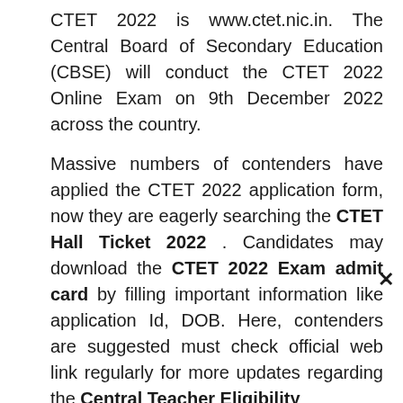CTET 2022 is www.ctet.nic.in. The Central Board of Secondary Education (CBSE) will conduct the CTET 2022 Online Exam on 9th December 2022 across the country.
Massive numbers of contenders have applied the CTET 2022 application form, now they are eagerly searching the CTET Hall Ticket 2022 . Candidates may download the CTET 2022 Exam admit card by filling important information like application Id, DOB. Here, contenders are suggested must check official web link regularly for more updates regarding the Central Teacher Eligibility×